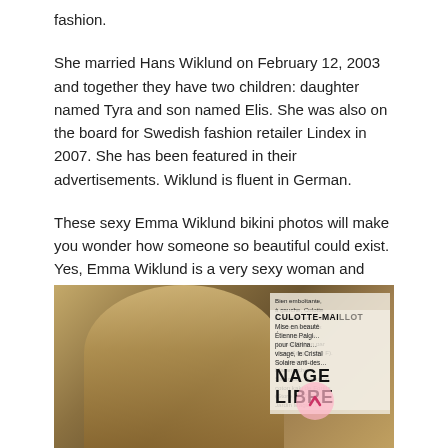fashion.
She married Hans Wiklund on February 12, 2003 and together they have two children: daughter named Tyra and son named Elis. She was also on the board for Swedish fashion retailer Lindex in 2007. She has been featured in their advertisements. Wiklund is fluent in German.
These sexy Emma Wiklund bikini photos will make you wonder how someone so beautiful could exist. Yes, Emma Wiklund is a very sexy woman and Emma Wiklund's bra and breast size prove that Emma Wiklund can carry off any dress in style. So, we have also gathered a few Emma Wiklund bikini and swimsuit featuring Emma Wiklund's face and body pictures as well.
[Figure (photo): A vintage magazine photo of a person with short hair at the beach or poolside, with French text overlay including 'CULOTTE-MAILLOT' and 'NAGE LIBRE' typography on the right side.]